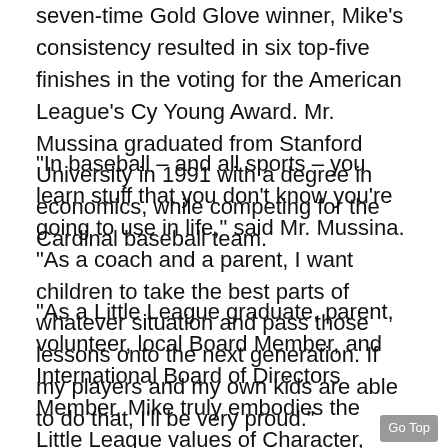seven-time Gold Glove winner, Mike's consistency resulted in six top-five finishes in the voting for the American League's Cy Young Award. Mr. Mussina graduated from Stanford University in 1991 with a degree in economics, while competing for the Cardinal baseball team.
“In baseball – and all sports – you learn stuff that you don’t know you’re going to use in life,” said Mr. Mussina. “As a coach and a parent, I want children to take the best parts of whatever situation and pass those lessons onto the next generation. If my players and my own kids are able to do that, I’ll be very proud.”
“As a Little League graduate, parent, volunteer, local Board Member, and International Board of Directors Member, Mike truly embodies the Little League values of Character, Courage, and Loyalty,” said Stephen D. Keener, Little League President and CEO. “As Little League celebrates its 75th Anniversary, it is wonderful to recognize Mike’s on-field and